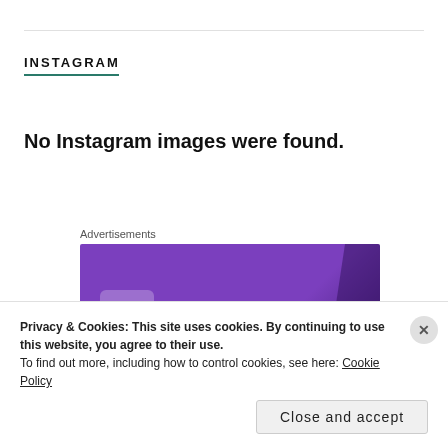INSTAGRAM
No Instagram images were found.
Advertisements
[Figure (screenshot): Purple/violet advertisement banner, partially visible, with a white rounded rectangle logo area and text on a purple gradient background with a darker right panel.]
Privacy & Cookies: This site uses cookies. By continuing to use this website, you agree to their use.
To find out more, including how to control cookies, see here: Cookie Policy
Close and accept